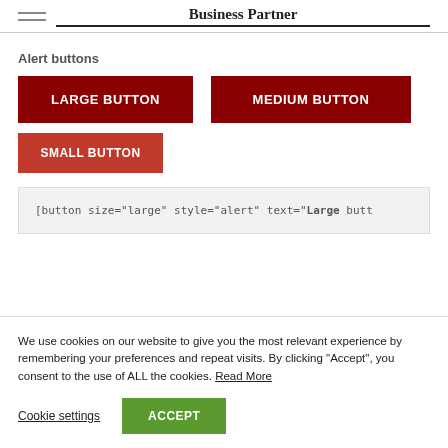Business Partner
Alert buttons
[Figure (screenshot): Three alert-style buttons: LARGE BUTTON (dark red, large), MEDIUM BUTTON (dark red, medium), SMALL BUTTON (red, small)]
[button size="large" style="alert" text="Large butt...
We use cookies on our website to give you the most relevant experience by remembering your preferences and repeat visits. By clicking “Accept”, you consent to the use of ALL the cookies. Read More
Cookie settings   ACCEPT